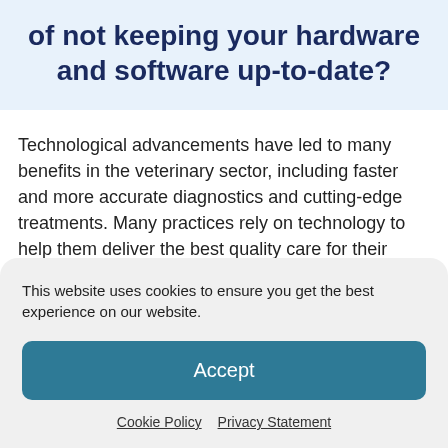of not keeping your hardware and software up-to-date?
Technological advancements have led to many benefits in the veterinary sector, including faster and more accurate diagnostics and cutting-edge treatments. Many practices rely on technology to help them deliver the best quality care for their clients and patients. This improves the
This website uses cookies to ensure you get the best experience on our website.
Accept
Cookie Policy   Privacy Statement